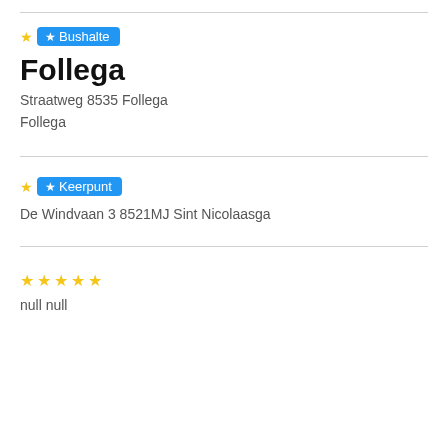Bushalte
Follega
Straatweg 8535 Follega
Follega
Keerpunt
De Windvaan 3 8521MJ Sint Nicolaasga
null null